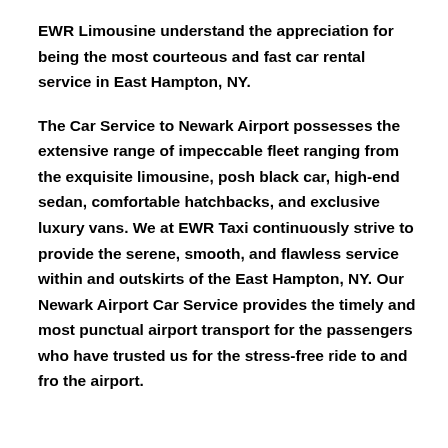EWR Limousine understand the appreciation for being the most courteous and fast car rental service in East Hampton, NY.
The Car Service to Newark Airport possesses the extensive range of impeccable fleet ranging from the exquisite limousine, posh black car, high-end sedan, comfortable hatchbacks, and exclusive luxury vans. We at EWR Taxi continuously strive to provide the serene, smooth, and flawless service within and outskirts of the East Hampton, NY. Our Newark Airport Car Service provides the timely and most punctual airport transport for the passengers who have trusted us for the stress-free ride to and fro the airport.